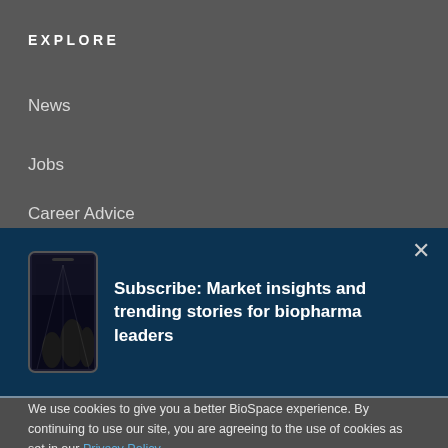EXPLORE
News
Jobs
Career Advice
[Figure (screenshot): Subscribe banner with phone illustration and text: Subscribe: Market insights and trending stories for biopharma leaders]
We use cookies to give you a better BioSpace experience. By continuing to use our site, you are agreeing to the use of cookies as set in our Privacy Policy.
Accept